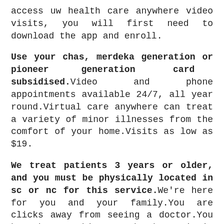access uw health care anywhere video visits, you will first need to download the app and enroll.
Use your chas, merdeka generation or pioneer generation card for subsidised. Video and phone appointments available 24/7, all year round.Virtual care anywhere can treat a variety of minor illnesses from the comfort of your home.Visits as low as $19.
We treat patients 3 years or older, and you must be physically located in sc or nc for this service. We’re here for you and your family.You are clicks away from seeing a doctor.You have better things to do than wait in a doctor’s office.